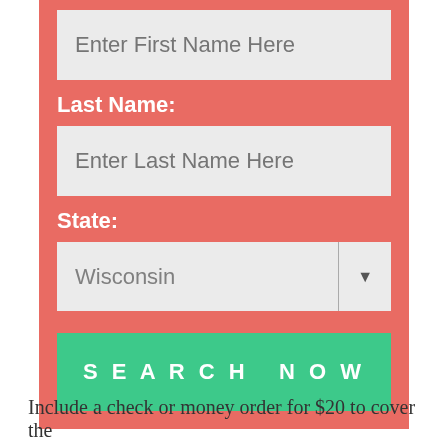Enter First Name Here
Last Name:
Enter Last Name Here
State:
Wisconsin
SEARCH NOW
Include a check or money order for $20 to cover the